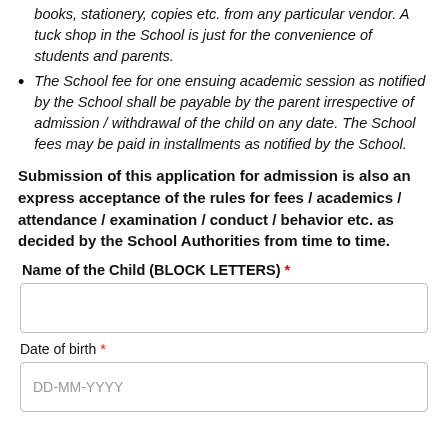books, stationery, copies etc. from any particular vendor. A tuck shop in the School is just for the convenience of students and parents.
The School fee for one ensuing academic session as notified by the School shall be payable by the parent irrespective of admission / withdrawal of the child on any date. The School fees may be paid in installments as notified by the School.
Submission of this application for admission is also an express acceptance of the rules for fees / academics / attendance / examination / conduct / behavior etc. as decided by the School Authorities from time to time.
Name of the Child (BLOCK LETTERS) *
Date of birth *
DD-MM-YYYY